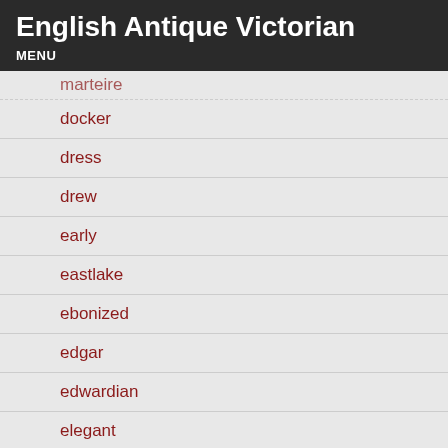English Antique Victorian
MENU
docker
dress
drew
early
eastlake
ebonized
edgar
edwardian
elegant
enchanting
english
everyday
excellent